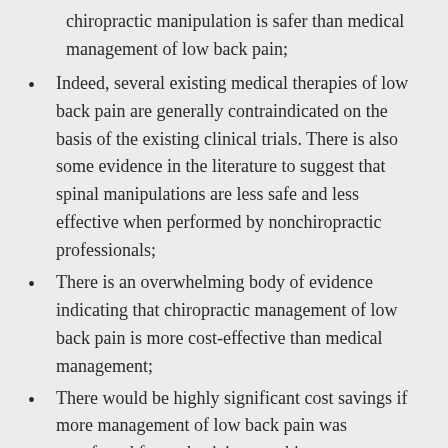chiropractic manipulation is safer than medical management of low back pain;
Indeed, several existing medical therapies of low back pain are generally contraindicated on the basis of the existing clinical trials. There is also some evidence in the literature to suggest that spinal manipulations are less safe and less effective when performed by nonchiropractic professionals;
There is an overwhelming body of evidence indicating that chiropractic management of low back pain is more cost-effective than medical management;
There would be highly significant cost savings if more management of low back pain was transferred from physicians to chiropractors. Evidence from Canada and other countries suggests potential savings of